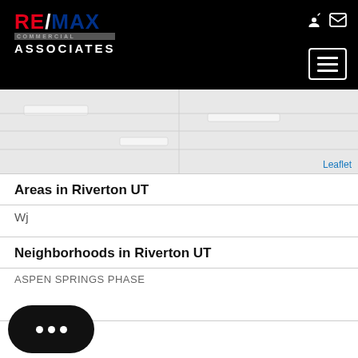[Figure (logo): RE/MAX Commercial Associates logo in red, white, and blue on black background with hamburger menu and nav icons]
[Figure (map): Leaflet map showing Riverton UT area, light gray background map]
Areas in Riverton UT
Wj
Neighborhoods in Riverton UT
ASPEN SPRINGS PHASE
PARK